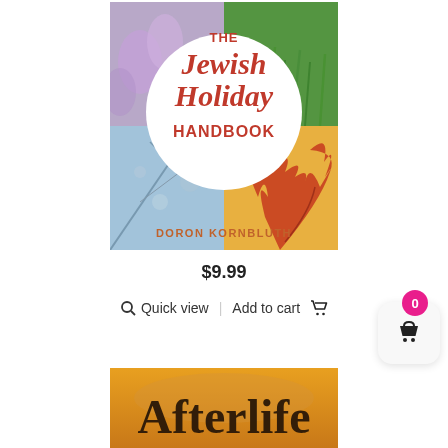[Figure (illustration): Book cover for 'The Jewish Holiday Handbook' by Doron Kornbluth, showing four seasonal nature photos (purple flower, green grass, icy winter branches, orange autumn leaf) with a white circle in center containing the title text in red/dark red serif font. Author name at bottom in dark orange caps.]
$9.99
Quick view   Add to cart
[Figure (illustration): Cart icon button with pink/magenta badge showing '0' and a white rounded rectangle containing a basket icon.]
[Figure (illustration): Bottom portion of another book cover showing 'Afterlife' in large dark serif text on an orange/golden sky background.]